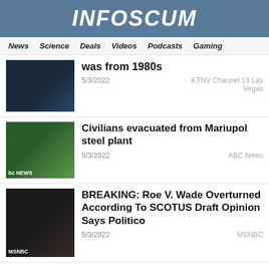INFOSCUM
News  Science  Deals  Videos  Podcasts  Gaming
was from 1980s
5/3/2022
KTNV Channel 13 Las Vegas
Civilians evacuated from Mariupol steel plant
5/3/2022
ABC News
BREAKING: Roe V. Wade Overturned According To SCOTUS Draft Opinion Says Politico
5/3/2022
MSNBC